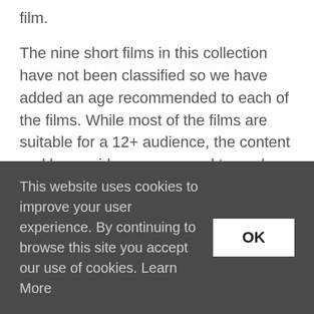film.
The nine short films in this collection have not been classified so we have added an age recommended to each of the films. While most of the films are suitable for a 12+ audience, the content and lesson ideas are geared towards Transition Year +, with the exception of A Terrible Hullabaloo.
As with all content on the IFI Archive Player, we recommend that you view the material in advance of showing them in class.
This website uses cookies to improve your user experience. By continuing to browse this site you accept our use of cookies. Learn More